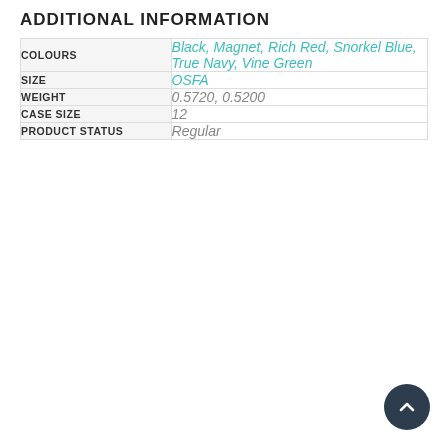ADDITIONAL INFORMATION
|  |  |
| --- | --- |
| COLOURS | Black, Magnet, Rich Red, Snorkel Blue, True Navy, Vine Green |
| SIZE | OSFA |
| WEIGHT | 0.5720, 0.5200 |
| CASE SIZE | 12 |
| PRODUCT STATUS | Regular |